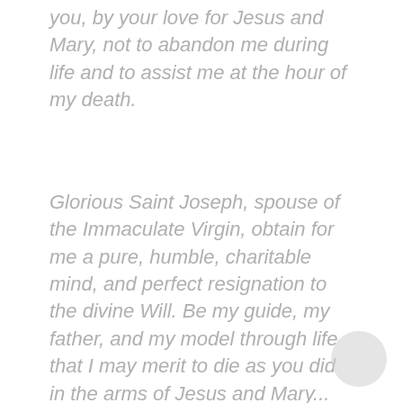you, by your love for Jesus and Mary, not to abandon me during life and to assist me at the hour of my death.
Glorious Saint Joseph, spouse of the Immaculate Virgin, obtain for me a pure, humble, charitable mind, and perfect resignation to the divine Will. Be my guide, my father, and my model through life that I may merit to die as you did in the arms of Jesus and Mary...